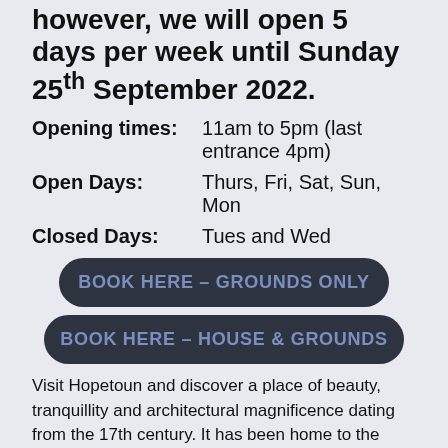however, we will open 5 days per week until Sunday 25th September 2022.
Opening times:    11am to 5pm (last entrance 4pm)
Open Days:    Thurs, Fri, Sat, Sun, Mon
Closed Days:    Tues and Wed
[Figure (other): Dark rounded button labeled BOOK HERE – GROUNDS ONLY]
[Figure (other): Dark rounded button labeled BOOK HERE – HOUSE & GROUNDS]
Visit Hopetoun and discover a place of beauty, tranquillity and architectural magnificence dating from the 17th century. It has been home to the Hope Family since the late 1600's and the present Lord Hopetoun and his family still live in Hopetoun House. Hopetoun House, a remarkably beautiful stately home, is filled with